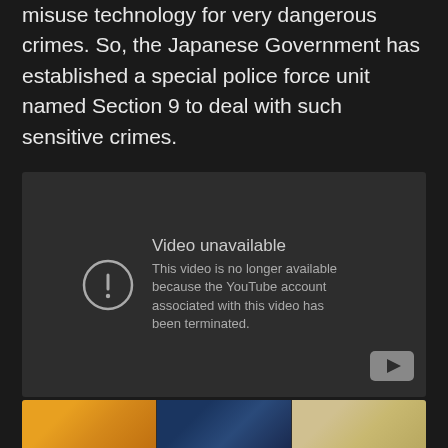misuse technology for very dangerous crimes. So, the Japanese Government has established a special police force unit named Section 9 to deal with such sensitive crimes.
[Figure (screenshot): Embedded YouTube video player showing 'Video unavailable' error message. The message reads: 'This video is no longer available because the YouTube account associated with this video has been terminated.' A YouTube logo button appears in the bottom-right corner of the player.]
[Figure (photo): A strip of three anime character thumbnail images partially visible at the bottom of the page. Left thumbnail shows an anime character with golden/orange coloring. Middle thumbnail shows a character with dark blue tones. Right thumbnail shows a character with light blonde/white coloring.]